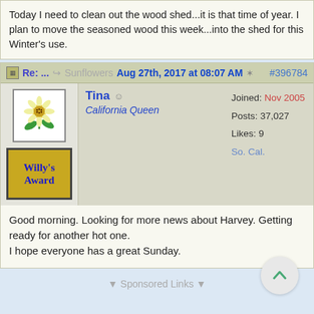Today I need to clean out the wood shed...it is that time of year. I plan to move the seasoned wood this week...into the shed for this Winter's use.
Re: ... Sunflowers Aug 27th, 2017 at 08:07 AM #396784
Tina
California Queen
Joined: Nov 2005
Posts: 37,027
Likes: 9
So. Cal.
Good morning. Looking for more news about Harvey. Getting ready for another hot one.
I hope everyone has a great Sunday.
▼ Sponsored Links ▼